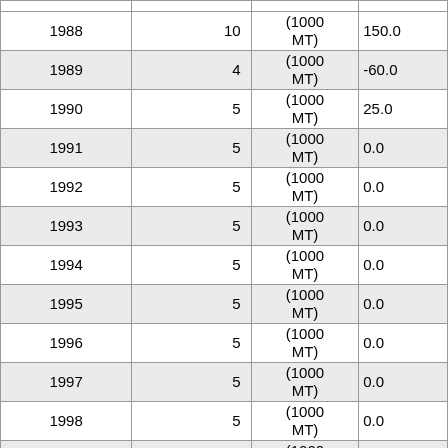| Year | Value | Unit | Amount |
| --- | --- | --- | --- |
| 1988 | 10 | (1000 MT) | 150.0 |
| 1989 | 4 | (1000 MT) | -60.0 |
| 1990 | 5 | (1000 MT) | 25.0 |
| 1991 | 5 | (1000 MT) | 0.0 |
| 1992 | 5 | (1000 MT) | 0.0 |
| 1993 | 5 | (1000 MT) | 0.0 |
| 1994 | 5 | (1000 MT) | 0.0 |
| 1995 | 5 | (1000 MT) | 0.0 |
| 1996 | 5 | (1000 MT) | 0.0 |
| 1997 | 5 | (1000 MT) | 0.0 |
| 1998 | 5 | (1000 MT) | 0.0 |